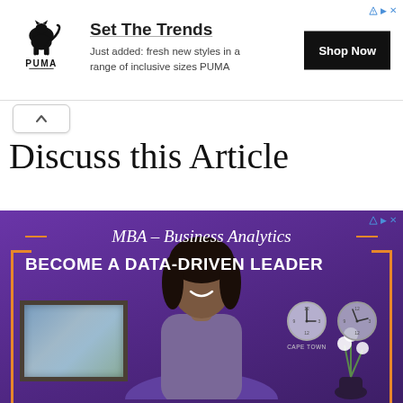[Figure (infographic): PUMA advertisement banner: PUMA logo on left, text 'Set The Trends' with subtext 'Just added: fresh new styles in a range of inclusive sizes PUMA', and a black 'Shop Now' button on the right.]
[Figure (infographic): Collapse/chevron up button UI element]
Discuss this Article
[Figure (infographic): MBA – Business Analytics advertisement. Purple background with a smiling woman, text reads 'MBA – Business Analytics' and 'BECOME A DATA-DRIVEN LEADER'. Orange bracket decoration, clocks showing 'CAPE TOWN', painting on left, flowers on right.]